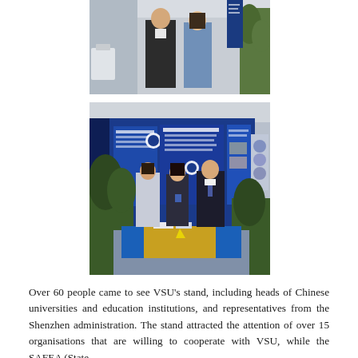[Figure (photo): Photo of two people standing at an exhibition booth or conference stand, man in dark blazer on left, woman in floral blouse on right, with plants and display materials visible in the background.]
[Figure (photo): Photo of three people (two women and one man in suit) standing in front of a VSU university exhibition booth with blue display panels, brochures on a table with a blue and yellow emblem tablecloth.]
Over 60 people came to see VSU's stand, including heads of Chinese universities and education institutions, and representatives from the Shenzhen administration. The stand attracted the attention of over 15 organisations that are willing to cooperate with VSU, while the SAFEA (State